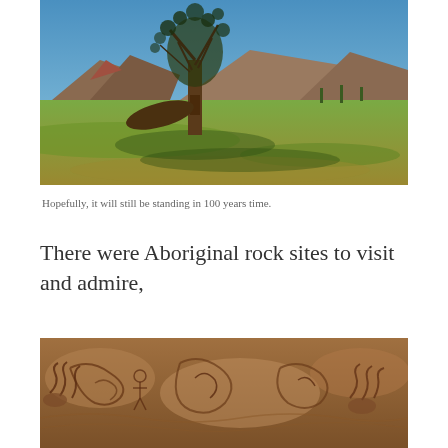[Figure (photo): Landscape photo showing a lone eucalyptus tree in a green grassy plain with mountains and blue sky in the background]
Hopefully, it will still be standing in 100 years time.
There were Aboriginal rock sites to visit and admire,
[Figure (photo): Close-up photo of Aboriginal rock engravings/carvings on sandstone rock surface showing figures and patterns]